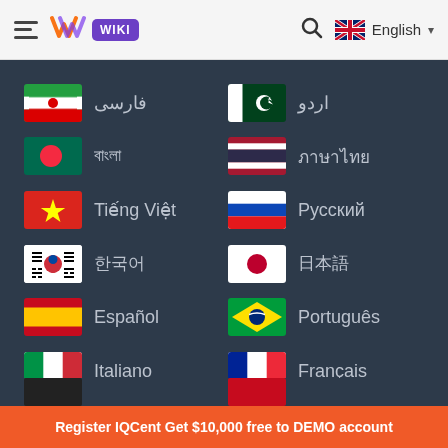IQCent Wiki - language selection page header
فارسی (Farsi/Persian - Iran flag)
اردو (Urdu - Pakistan flag)
বাংলা (Bengali - Bangladesh flag)
ภาษาไทย (Thai - Thailand flag)
Tiếng Việt (Vietnamese - Vietnam flag)
Русский (Russian - Russia flag)
한국어 (Korean - South Korea flag)
日本語 (Japanese - Japan flag)
Español (Spanish - Spain flag)
Português (Portuguese - Brazil flag)
Italiano (Italian - Italy flag)
Français (French - France flag)
Register IQCent Get $10,000 free to DEMO account